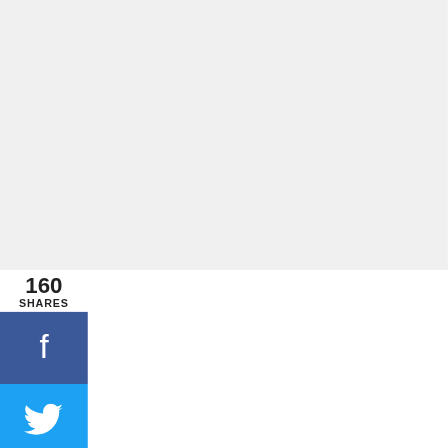[Figure (screenshot): Top grey/white area — image content area placeholder, appears blank/light grey]
160
SHARES
[Figure (infographic): Social share sidebar with Facebook (blue), Twitter (cyan), Pinterest (red, 160 pins), LinkedIn (blue) buttons]
nd although there are tons of different places in the city where you can indoor rock climb until vo
This website uses cookies to improve your experience. We'll assume you're ok with this, but you can opt-out if you wish.
[Figure (infographic): Bottom black banner: Ukraine flag graphic, 'We Stand With You' text in white, close X button, Waldo logo]
We Stand With You